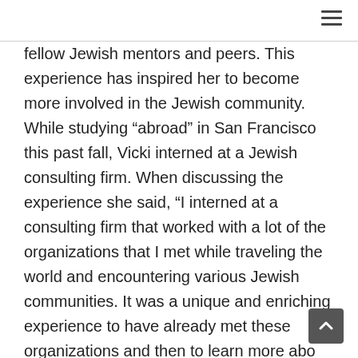fellow Jewish mentors and peers. This experience has inspired her to become more involved in the Jewish community. While studying “abroad” in San Francisco this past fall, Vicki interned at a Jewish consulting firm. When discussing the experience she said, “I interned at a consulting firm that worked with a lot of the organizations that I met while traveling the world and encountering various Jewish communities. It was a unique and enriching experience to have already met these organizations and then to learn more about their organizational structures and financial allocation through my internship.” Whe